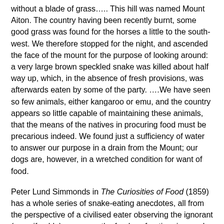without a blade of grass….. This hill was named Mount Aiton. The country having been recently burnt, some good grass was found for the horses a little to the south-west. We therefore stopped for the night, and ascended the face of the mount for the purpose of looking around: a very large brown speckled snake was killed about half way up, which, in the absence of fresh provisions, was afterwards eaten by some of the party. ….We have seen so few animals, either kangaroo or emu, and the country appears so little capable of maintaining these animals, that the means of the natives in procuring food must be precarious indeed. We found just a sufficiency of water to answer our purpose in a drain from the Mount; our dogs are, however, in a wretched condition for want of food.
Peter Lund Simmonds in The Curiosities of Food (1859) has a whole series of snake-eating anecdotes, all from the perspective of a civilised eater observing the ignorant (even if noble) savage or the fearless frontier pioneer. In case you are lost in the wilderness and get hungry and are not afraid to catch a snake (which in Australia is highly likely to be extremely poisonous) and do not already know how to cook one, Simmonds most helpfully quotes a certain Dr Lang's account of snake cooking in Australia: